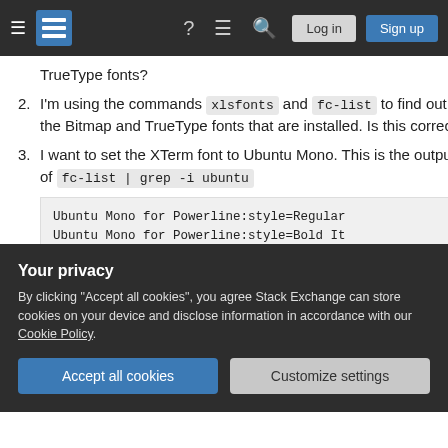Stack Exchange navigation bar with logo, icons, Log in and Sign up buttons
TrueType fonts?
I'm using the commands xlsfonts and fc-list to find out the Bitmap and TrueType fonts that are installed. Is this correct?
I want to set the XTerm font to Ubuntu Mono. This is the output of fc-list | grep -i ubuntu
Ubuntu Mono for Powerline:style=Regular
Ubuntu Mono for Powerline:style=Bold It
Ubuntu Mono for Powerline:style=BoldFor
Ubuntu Mono for Powerline:style=ItalicF
Your privacy
By clicking "Accept all cookies", you agree Stack Exchange can store cookies on your device and disclose information in accordance with our Cookie Policy.
Accept all cookies   Customize settings